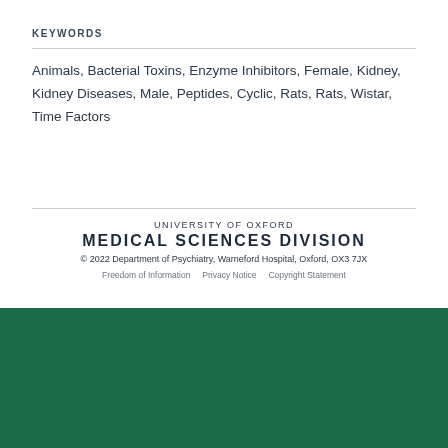KEYWORDS
Animals, Bacterial Toxins, Enzyme Inhibitors, Female, Kidney, Kidney Diseases, Male, Peptides, Cyclic, Rats, Rats, Wistar, Time Factors
UNIVERSITY OF OXFORD
MEDICAL SCIENCES DIVISION
© 2022 Department of Psychiatry, Warneford Hospital, Oxford, OX3 7JX
Freedom of Information   Privacy Notice   Copyright Statement
Cookies on this website
We use cookies to ensure that we give you the best experience on our website. If you click 'Accept all cookies' we'll assume that you are happy to receive all cookies and you won't see this message again. If you click 'Reject all non-essential cookies' only necessary cookies providing